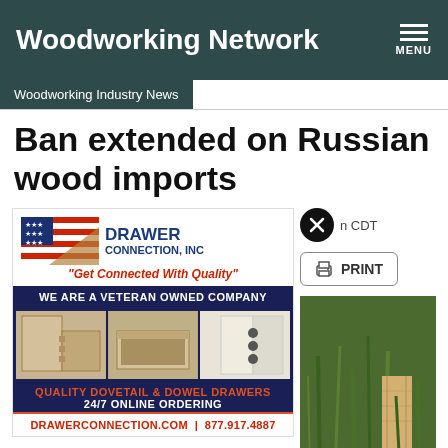Woodworking Network
Woodworking Industry News
Ban extended on Russian wood imports
[Figure (advertisement): Drawer Connection Inc ad — flag logo, tagline 'Get Connected With Quality', veteran owned, dovetail drawer photos, drawerconnection.com, 877.917.4887]
n CDT
PRINT